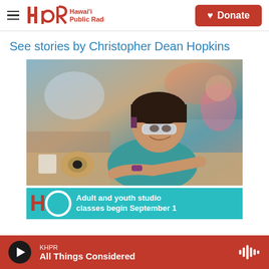Hawai'i Public Radio — Donate
See stories by Christopher Dean Hopkins
[Figure (photo): Young girl wearing safety goggles smiling in a workshop/studio setting, leaning on a workbench with tools and materials]
Adult and youth studio classes begin September 1
KHPR — All Things Considered